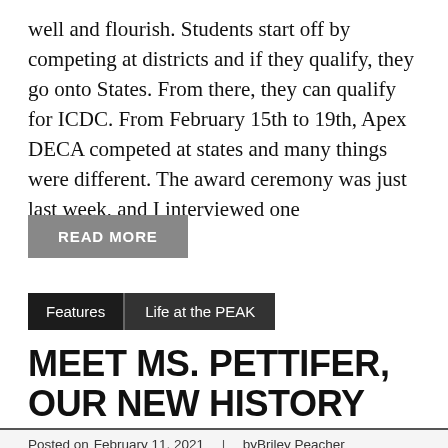well and flourish. Students start off by competing at districts and if they qualify, they go onto States. From there, they can qualify for ICDC. From February 15th to 19th, Apex DECA competed at states and many things were different. The award ceremony was just last week, and I interviewed one
READ MORE
Features  Life at the PEAK
MEET MS. PETTIFER, OUR NEW HISTORY TEACHER!
Posted on February 11, 2021 | by Briley Peacher